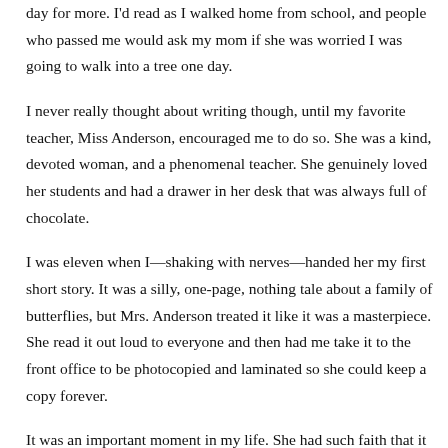day for more. I'd read as I walked home from school, and people who passed me would ask my mom if she was worried I was going to walk into a tree one day.
I never really thought about writing though, until my favorite teacher, Miss Anderson, encouraged me to do so. She was a kind, devoted woman, and a phenomenal teacher. She genuinely loved her students and had a drawer in her desk that was always full of chocolate.
I was eleven when I—shaking with nerves—handed her my first short story. It was a silly, one-page, nothing tale about a family of butterflies, but Mrs. Anderson treated it like it was a masterpiece. She read it out loud to everyone and then had me take it to the front office to be photocopied and laminated so she could keep a copy forever.
It was an important moment in my life. She had such faith that it ld...